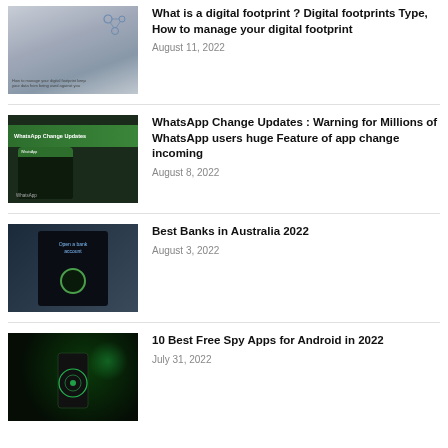[Figure (photo): Thumbnail image of hands on laptop with digital network circles overlay, related to digital footprint article]
What is a digital footprint ? Digital footprints Type, How to manage your digital footprint
August 11, 2022
[Figure (photo): Thumbnail image of WhatsApp interface on a phone with dark green background and 'WhatsApp Change Updates' banner]
WhatsApp Change Updates : Warning for Millions of WhatsApp users huge Feature of app change incoming
August 8, 2022
[Figure (photo): Thumbnail image of a tablet showing banking app with globe icon and 'Open a bank account' text]
Best Banks in Australia 2022
August 3, 2022
[Figure (photo): Thumbnail image of a phone with green glow effect on dark background, related to spy apps]
10 Best Free Spy Apps for Android in 2022
July 31, 2022